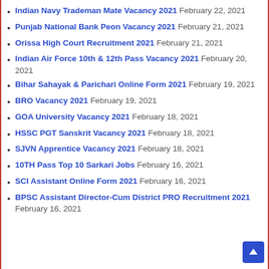Indian Navy Trademan Mate Vacancy 2021 February 22, 2021
Punjab National Bank Peon Vacancy 2021 February 21, 2021
Orissa High Court Recruitment 2021 February 21, 2021
Indian Air Force 10th & 12th Pass Vacancy 2021 February 20, 2021
Bihar Sahayak & Parichari Online Form 2021 February 19, 2021
BRO Vacancy 2021 February 19, 2021
GOA University Vacancy 2021 February 18, 2021
HSSC PGT Sanskrit Vacancy 2021 February 18, 2021
SJVN Apprentice Vacancy 2021 February 18, 2021
10TH Pass Top 10 Sarkari Jobs February 16, 2021
SCI Assistant Online Form 2021 February 16, 2021
BPSC Assistant Director-Cum District PRO Recruitment 2021 February 16, 2021